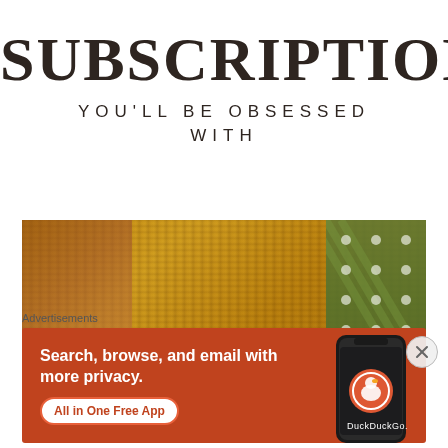SUBSCRIPTIONS
YOU'LL BE OBSESSED WITH
[Figure (photo): Close-up photo of golden woven ribbon/mesh with green and white patterned gift wrapping paper in the background]
Advertisements
[Figure (infographic): DuckDuckGo advertisement banner with orange background. Text reads: 'Search, browse, and email with more privacy. All in One Free App'. Shows a smartphone with the DuckDuckGo logo and brand name.]